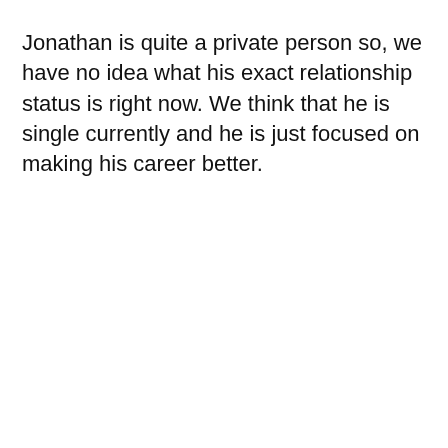Jonathan is quite a private person so, we have no idea what his exact relationship status is right now. We think that he is single currently and he is just focused on making his career better.